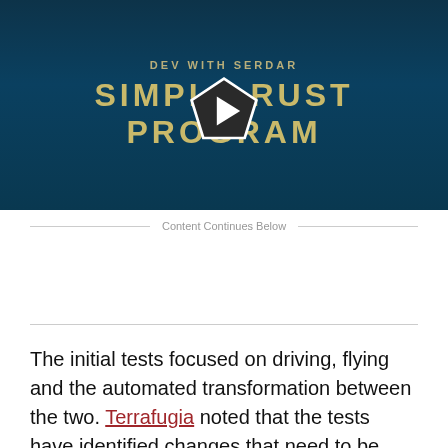[Figure (screenshot): Video thumbnail for 'Simple Rust Program' by Dev With Serdar. Dark teal background with gold/olive text showing 'DEV WITH SERDAR' at top, 'SIMPLE RUST PROGRAM' in large bold letters, and a white pentagon-shaped play button in the center.]
Content Continues Below
The initial tests focused on driving, flying and the automated transformation between the two. Terrafugia noted that the tests have identified changes that need to be made, but did not specify what the problems are or what the